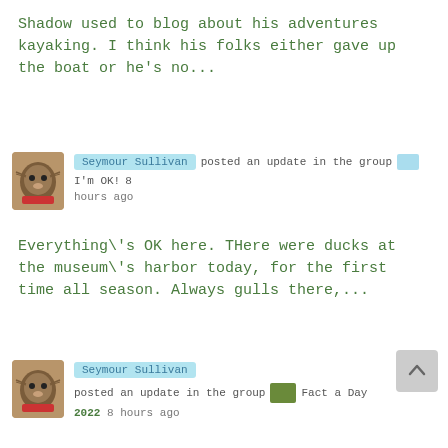Shadow used to blog about his adventures kayaking. I think his folks either gave up the boat or he's no...
Seymour Sullivan posted an update in the group I'm OK! 8 hours ago
Everything\'s OK here. THere were ducks at the museum\'s harbor today, for the first time all season. Always gulls there,...
Seymour Sullivan posted an update in the group Fact a Day 2022 8 hours ago